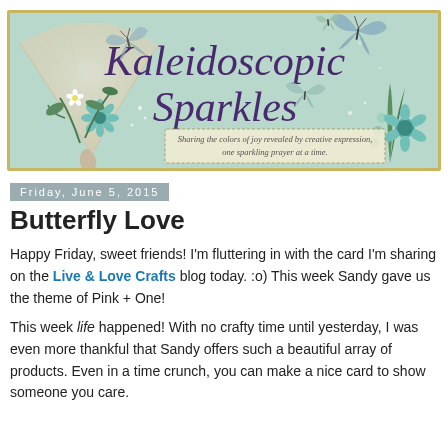[Figure (illustration): Blog header banner for 'Kaleidoscopic Sparkles' with mint/teal background, decorative fan, flowers, and butterflies. Subtitle reads: 'Sharing the colors of joy revealed by creative expression, one sparkling prayer at a time.']
Friday, June 5, 2015
Butterfly Love
Happy Friday, sweet friends! I'm fluttering in with the card I'm sharing on the Live & Love Crafts blog today. :o) This week Sandy gave us the theme of Pink + One!
This week life happened! With no crafty time until yesterday, I was even more thankful that Sandy offers such a beautiful array of products. Even in a time crunch, you can make a nice card to show someone you care.